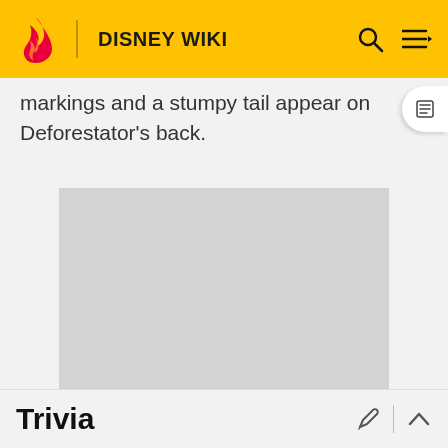DISNEY WIKI
markings and a stumpy tail appear on Deforestator's back.
[Figure (other): Advertisement placeholder - grey rectangle]
ADVERTISEMENT
Trivia